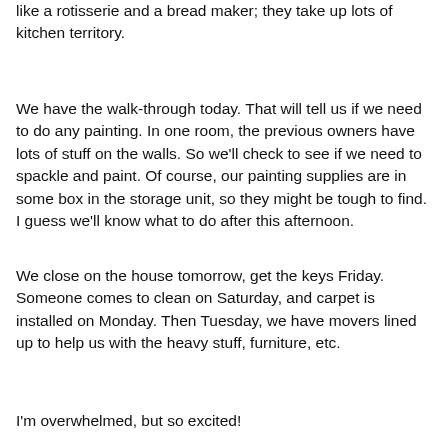like a rotisserie and a bread maker; they take up lots of kitchen territory.
We have the walk-through today. That will tell us if we need to do any painting. In one room, the previous owners have lots of stuff on the walls. So we'll check to see if we need to spackle and paint. Of course, our painting supplies are in some box in the storage unit, so they might be tough to find. I guess we'll know what to do after this afternoon.
We close on the house tomorrow, get the keys Friday. Someone comes to clean on Saturday, and carpet is installed on Monday. Then Tuesday, we have movers lined up to help us with the heavy stuff, furniture, etc.
I'm overwhelmed, but so excited!